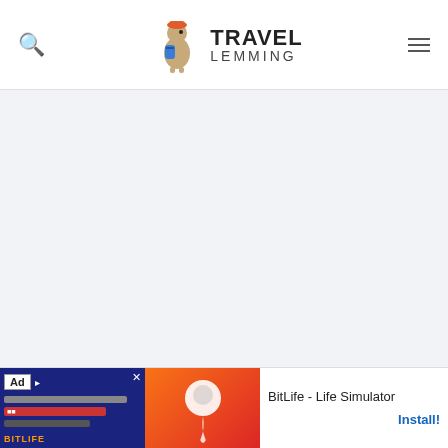Travel Lemming
[Figure (screenshot): Advertisement placeholder area (gray background, no content shown)]
If you're used to driving on the left, then driving through Croatia on the other hand side of the road will take some getting used to. in before erary.
[Figure (screenshot): BitLife - Life Simulator app advertisement banner at the bottom of the page with Install button]